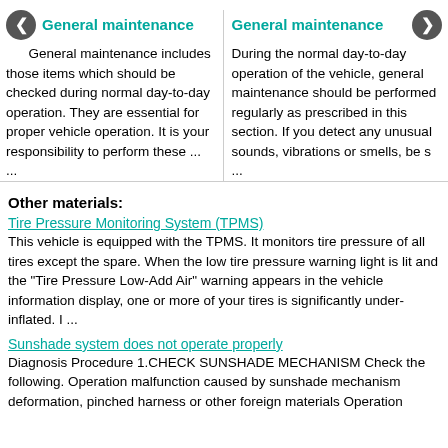General maintenance
General maintenance includes those items which should be checked during normal day-to-day operation. They are essential for proper vehicle operation. It is your responsibility to perform these ...
General maintenance
During the normal day-to-day operation of the vehicle, general maintenance should be performed regularly as prescribed in this section. If you detect any unusual sounds, vibrations or smells, be s ...
Other materials:
Tire Pressure Monitoring System (TPMS)
This vehicle is equipped with the TPMS. It monitors tire pressure of all tires except the spare. When the low tire pressure warning light is lit and the "Tire Pressure Low-Add Air" warning appears in the vehicle information display, one or more of your tires is significantly under-inflated. I ...
Sunshade system does not operate properly
Diagnosis Procedure 1.CHECK SUNSHADE MECHANISM Check the following. Operation malfunction caused by sunshade mechanism deformation, pinched harness or other foreign materials Operation ...